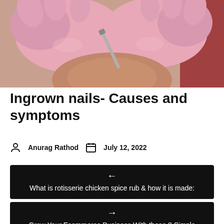[Figure (photo): Close-up photo of hands in pink latex gloves holding a nail tool working on a toenail, medical/pedicure context]
Ingrown nails- Causes and symptoms
Anurag Rathod   July 12, 2022
← What is rotisserie chicken spice rub & how it is made:
→ Grow Your Ecommerce Business With these 8 Simple Pinterest Tips In 2022